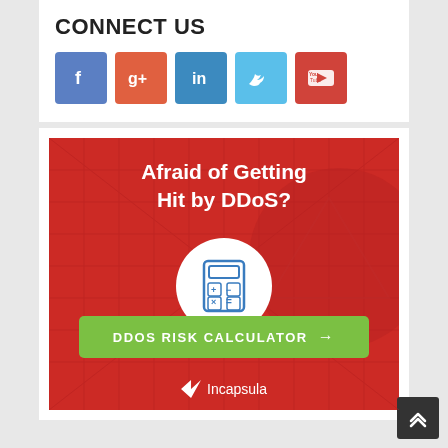CONNECT US
[Figure (other): Social media icons: Facebook (blue), Google+ (orange-red), LinkedIn (blue), Twitter (light blue), YouTube (red)]
[Figure (infographic): Incapsula DDoS Risk Calculator advertisement on red background. Text: 'Afraid of Getting Hit by DDoS?' with a calculator icon in a white circle, a green button labeled 'DDOS RISK CALCULATOR →', and the Incapsula logo at the bottom.]